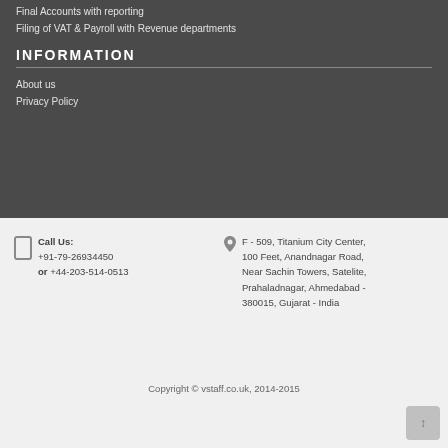Final Accounts with reporting
Filing of VAT & Payroll with Revenue departments
INFORMATION
About us
Privacy Policy
Call Us:
+91-79-26934450
or +44-203-514-0513
F - 509, Titanium City Center, 100 Feet, Anandnagar Road, Near Sachin Towers, Satelite, Prahaladnagar, Ahmedabad - 380015, Gujarat - India
Copyright © vstaff.co.uk, 2014-2015